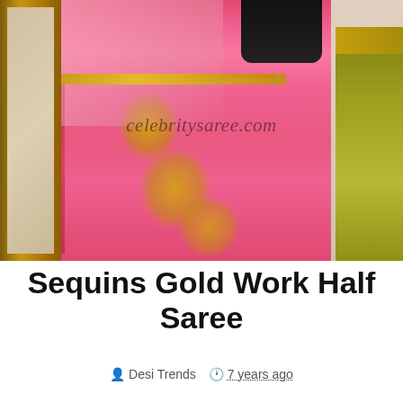[Figure (photo): A pink half saree with gold sequin embroidery work displayed on a mannequin. A decorative mirror with gold frame is visible on the left. A green/yellow saree is partially visible on the right. Watermark text 'celebritysaree.com' overlaid on the image.]
Sequins Gold Work Half Saree
Desi Trends  7 years ago